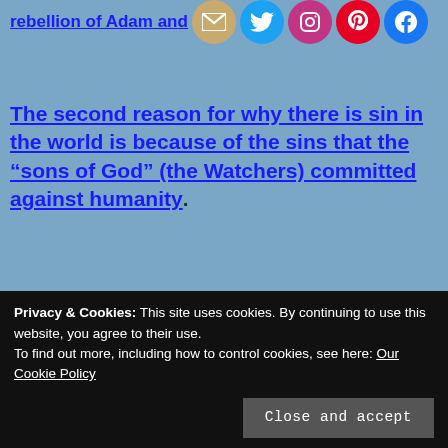rebellion of Adam and
[Figure (other): Social media sharing icons: email, Twitter, Instagram, Pinterest, Facebook]
The second reason for why there is sin in the world is because of the sins that the “sons of God” (the Watchers) committed against humanity.
This is a real story that must be taken literally, so let us take a deep breath and begin. Scripture states that the sons of God (angels) took  wives of their choosing. This both went
He referred to them as the watchers. There are
Privacy & Cookies: This site uses cookies. By continuing to use this website, you agree to their use.
To find out more, including how to control cookies, see here: Our Cookie Policy
Close and accept